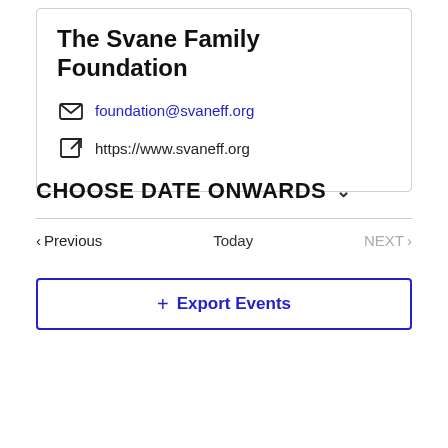The Svane Family Foundation
foundation@svaneff.org
https://www.svaneff.org
CHOOSE DATE ONWARDS
Previous   Today   NEXT
+ Export Events